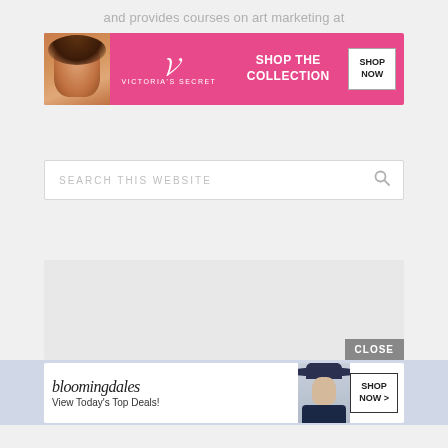and provides courses on art marketing at
[Figure (photo): Victoria's Secret advertisement banner: pink background with woman model on left, VS script logo, 'SHOP THE COLLECTION' text, and 'SHOP NOW' button]
[Figure (screenshot): Search bar with placeholder text 'SEARCH THIS WEBSITE' and a magnifying glass icon on the right]
[Figure (screenshot): Light gray modal/popup box with a CLOSE button in bottom-right corner]
[Figure (photo): Bloomingdale's advertisement banner: white background with bloomingdales script logo, 'View Today's Top Deals!' text, woman in navy hat on right, and 'SHOP NOW >' button]